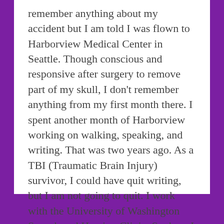remember anything about my accident but I am told I was flown to Harborview Medical Center in Seattle. Though conscious and responsive after surgery to remove part of my skull, I don't remember anything from my first month there. I spent another month of Harborview working on walking, speaking, and writing. That was two years ago. As a TBI (Traumatic Brain Injury) survivor, I could have quit writing, but I am not going to quit. I work with the University of Washington Speech and Hearing Clinic. So, here I am. I am married and live here in Sequim with my wife Cheryl. Our kids live in nearby cities. Writing is now an exhausting exercise, but something I plan to keep working on. View all posts by South of the Strait